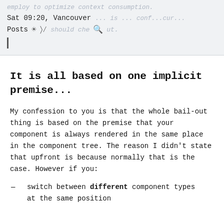employ to optimize context consumption. Sat 09:20, Vancouver ... is ... conf...cur... Posts [icons] should che[ck] out.
It is all based on one implicit premise...
My confession to you is that the whole bail-out thing is based on the premise that your component is always rendered in the same place in the component tree. The reason I didn't state that upfront is because normally that is the case. However if you:
— switch between different component types at the same position